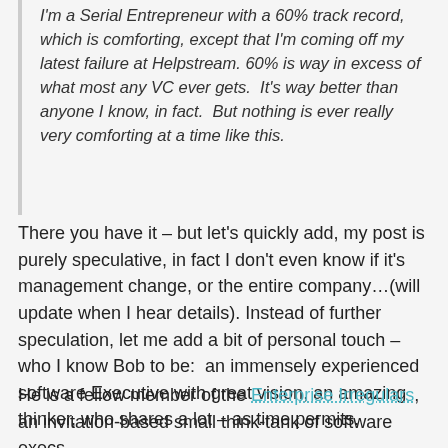I'm a Serial Entrepreneur with a 60% track record, which is comforting, except that I'm coming off my latest failure at Helpstream. 60% is way in excess of what most any VC ever gets.  It's way better than anyone I know, in fact.  But nothing is ever really very comforting at a time like this.
There you have it – but let's quickly add, my post is purely speculative, in fact I don't even know if it's management change, or the entire company…(will update when I hear details). Instead of further speculation, let me add a bit of personal touch – who I know Bob to be:  an immensely experienced software Executive with great vision, an amazing thinker, who shares a lot – as time permits.
He is a fellow member of the Enterprise Irregulars, an invitation-based small think-tank of software execs,